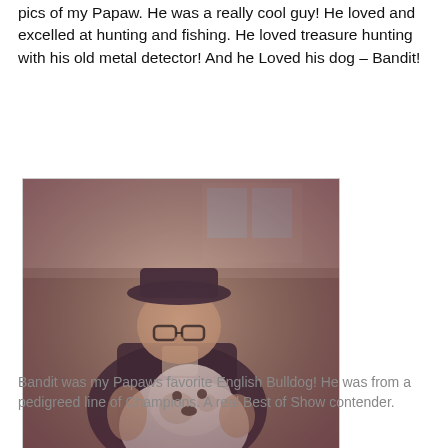pics of my Papaw. He was a really cool guy! He loved and excelled at hunting and fishing. He loved treasure hunting with his old metal detector! And he Loved his dog – Bandit!
[Figure (photo): An elderly man wearing a dark hat and glasses, dressed in a dark jacket, sitting outdoors holding a white English Bulldog in his lap. The photo has a warm sepia/vintage tone.]
Bandit was my Papaws favorite English Bulldog! He was from a pedigreed line of Champions. A real Best of Show contender.